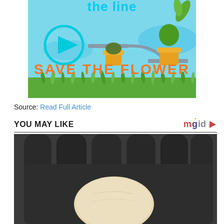[Figure (illustration): Colorful game screenshot/thumbnail showing cartoon plants in pots on a water slide or pipe, with a play button circle on the left. Text reads 'the line' at top and 'SAVE THE FLOWER' in large orange letters at the bottom, on a light blue and green background with grass.]
Source: Read Full Article
YOU MAY LIKE
[Figure (photo): Close-up photograph of what appears to be a gloved hand holding a round, pale yellowish-white object (possibly an egg or specimen), dark gloves visible at top.]